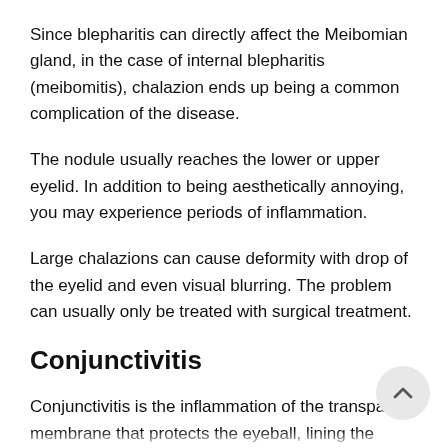Since blepharitis can directly affect the Meibomian gland, in the case of internal blepharitis (meibomitis), chalazion ends up being a common complication of the disease.
The nodule usually reaches the lower or upper eyelid. In addition to being aesthetically annoying, you may experience periods of inflammation.
Large chalazions can cause deformity with drop of the eyelid and even visual blurring. The problem can usually only be treated with surgical treatment.
Conjunctivitis
Conjunctivitis is the inflammation of the transparent membrane that protects the eyeball, lining the white part of the eye. It can happen if the microorganism that is causing blepharitis migrates into the eyes.